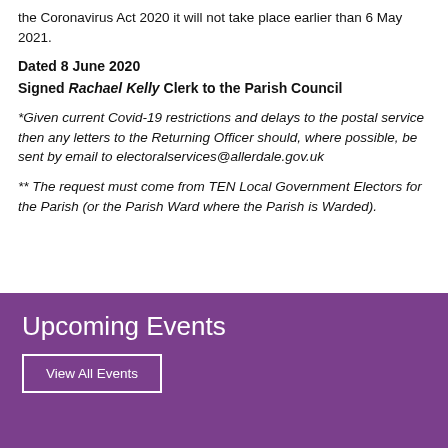the Coronavirus Act 2020 it will not take place earlier than 6 May 2021.
Dated 8 June 2020
Signed Rachael Kelly Clerk to the Parish Council
*Given current Covid-19 restrictions and delays to the postal service then any letters to the Returning Officer should, where possible, be sent by email to electoralservices@allerdale.gov.uk
** The request must come from TEN Local Government Electors for the Parish (or the Parish Ward where the Parish is Warded).
Upcoming Events
View All Events